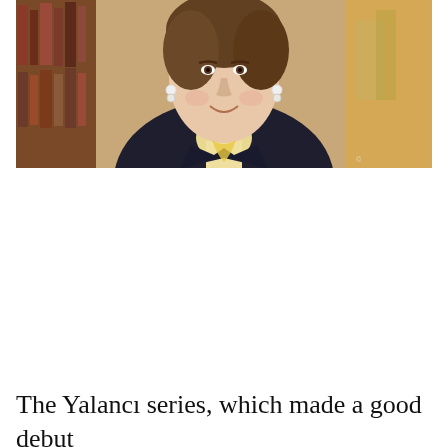[Figure (photo): Portrait photo of a woman wearing a black blazer with a yellow/white scarf or blouse, pearl earrings, smiling. Background shows blurred bookshelves and warm-toned decor.]
The Yalancı series, which made a good debut